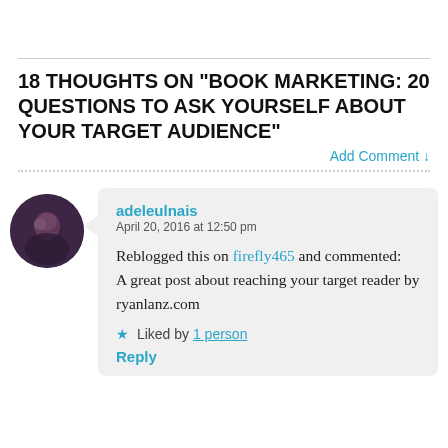18 THOUGHTS ON “BOOK MARKETING: 20 QUESTIONS TO ASK YOURSELF ABOUT YOUR TARGET AUDIENCE”
Add Comment ↓
adeleulnais
April 20, 2016 at 12:50 pm

Reblogged this on firefly465 and commented:
A great post about reaching your target reader by ryanlanz.com

★ Liked by 1 person

Reply